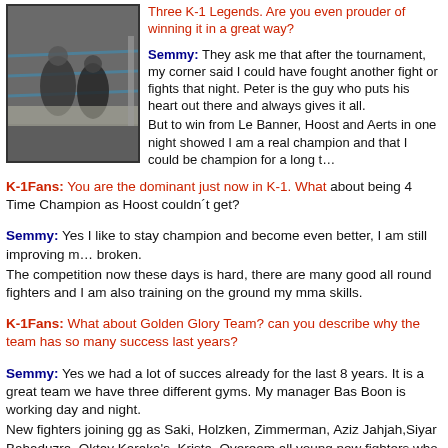[Figure (photo): A boxing/kickboxing match in a ring, two fighters visible with blue corner ropes, audience in background.]
Three K-1 Legends. Are you even prouder of winning it in a great way?
Semmy: They ask me that after the tournament, my corner said I could have fought another fight or fights that night. Peter is the guy who puts his heart out there and always gives it all. But to win from Le Banner, Hoost and Aerts in one night showed I am a real champion and that I could be champion for a long time.
K-1Fans: You are the dominant just now in K-1. What about being 4 Time Champion as Hoost couldn´t get?
Semmy: Yes I like to stay champion and become even better, I am still improving my body and nothing is broken. The competition now these days is hard, there are many good all round fighters and I am also training on the ground my mma skills.
K-1Fans: What about Golden Glory Team? can you describe why the team has so many success last years?
Semmy: Yes we had a lot of succes already for the last 8 years. It is a great team we have three different gyms. My manager Bas Boon is working day and night. New fighters joining gg as Saki, Holzken, Zimmerman, Aziz Jahjah,Siyar Bahaduzra, Oktay Karaka's, Krista, Overeem all young new fighters who are all performing very well. I want to congratulate Siyar, Alistair and Krista who recently became worldchampions by different organisations. I always prepare with Dave Jonkers together with my sparringpartners, I always be